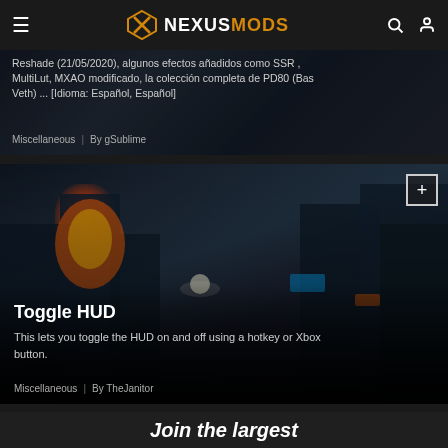NEXUSMODS
Reshade (21/05/2020), algunos efectos añadidos como SSR , MultiLut, MXAO modificado, la colección completa de PD80 (Bas Veth) ... [Idioma: Español, Español]
Miscellaneous | By gSublime
[Figure (screenshot): Game screenshot for Toggle HUD mod showing a nighttime city scene with fire and buildings]
Toggle HUD
This lets you toggle the HUD on and off using a hotkey or Xbox button.
Miscellaneous | By TheJanitor
Join the largest